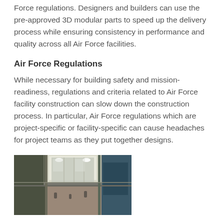Force regulations. Designers and builders can use the pre-approved 3D modular parts to speed up the delivery process while ensuring consistency in performance and quality across all Air Force facilities.
Air Force Regulations
While necessary for building safety and mission-readiness, regulations and criteria related to Air Force facility construction can slow down the construction process. In particular, Air Force regulations which are project-specific or facility-specific can cause headaches for project teams as they put together designs.
[Figure (photo): Interior photograph of a large Air Force facility building showing a wide atrium or hall with high ceilings, large windows, and multiple levels visible.]